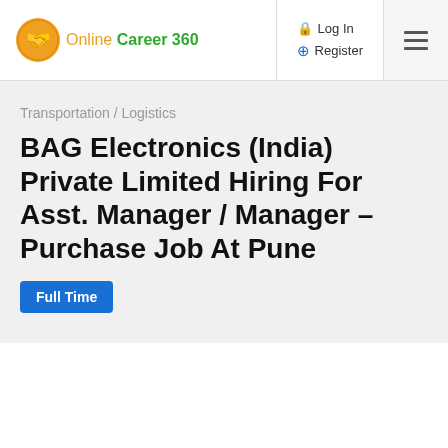Online Career 360 — Log In / Register navigation
Transportation / Logistics
BAG Electronics (India) Private Limited Hiring For Asst. Manager / Manager – Purchase Job At Pune
Full Time